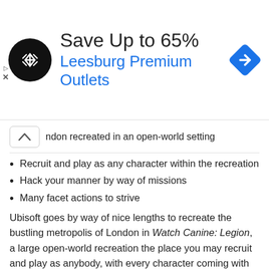[Figure (infographic): Advertisement banner: black circular logo with white arrows, text 'Save Up to 65%' and 'Leesburg Premium Outlets' in blue, blue diamond navigation icon on right, play and close ad controls on left]
ndon recreated in an open-world setting
Recruit and play as any character within the recreation
Hack your manner by way of missions
Many facet actions to strive
Ubisoft goes by way of nice lengths to recreate the bustling metropolis of London in Watch Canine: Legion, a large open-world recreation the place you may recruit and play as anybody, with every character coming with their very own persona and abilities you can make the most of for particular conditions. When you've grown your staff of operatives, you may change between them at any time, relying on who you want for a sure process. Hack into something you may entry